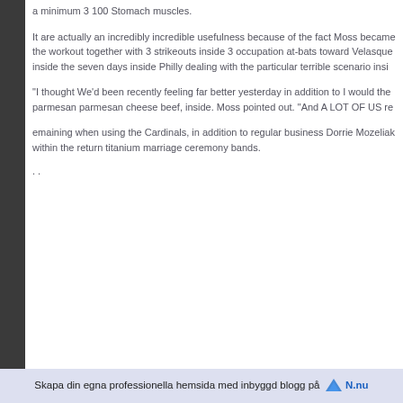a minimum 3 100 Stomach muscles.
It are actually an incredibly incredible usefulness because of the fact Moss became the workout together with 3 strikeouts inside 3 occupation at-bats toward Velasque inside the seven days inside Philly dealing with the particular terrible scenario insi
"I thought We'd been recently feeling far better yesterday in addition to I would the parmesan parmesan cheese beef, inside. Moss pointed out. "And A LOT OF US re
emaining when using the Cardinals, in addition to regular business Dorrie Mozeliak within the return titanium marriage ceremony bands.
. .
Skapa din egna professionella hemsida med inbyggd blogg på N.nu